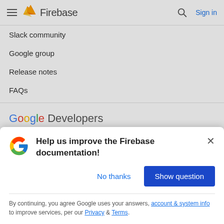Firebase
Slack community
Google group
Release notes
FAQs
[Figure (logo): Google Developers logo]
Andr
Chr
Fireb
Goo
All p
Help us improve the Firebase documentation!
By continuing, you agree Google uses your answers, account & system info to improve services, per our Privacy & Terms.